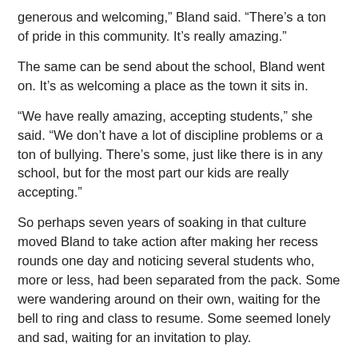generous and welcoming,” Bland said. “There’s a ton of pride in this community. It’s really amazing.”
The same can be send about the school, Bland went on. It’s as welcoming a place as the town it sits in.
“We have really amazing, accepting students,” she said. “We don’t have a lot of discipline problems or a ton of bullying. There’s some, just like there is in any school, but for the most part our kids are really accepting.”
So perhaps seven years of soaking in that culture moved Bland to take action after making her recess rounds one day and noticing several students who, more or less, had been separated from the pack. Some were wandering around on their own, waiting for the bell to ring and class to resume. Some seemed lonely and sad, waiting for an invitation to play.
Something as simple as an invitation to join a game, as any former “New Kid in Town” can attest, has the power to turn a lousy day into one that a lonely child may never forget.
“I just wanted to provide an opportunity for them to get involved,”